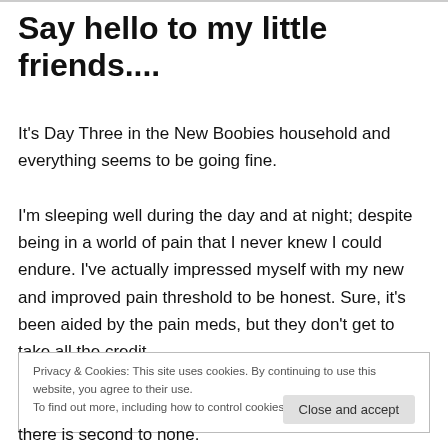Say hello to my little friends....
It's Day Three in the New Boobies household and everything seems to be going fine.
I'm sleeping well during the day and at night; despite being in a world of pain that I never knew I could endure. I've actually impressed myself with my new and improved pain threshold to be honest. Sure, it's been aided by the pain meds, but they don't get to take all the credit.
Privacy & Cookies: This site uses cookies. By continuing to use this website, you agree to their use.
To find out more, including how to control cookies, see here: Cookie Policy
there is second to none.